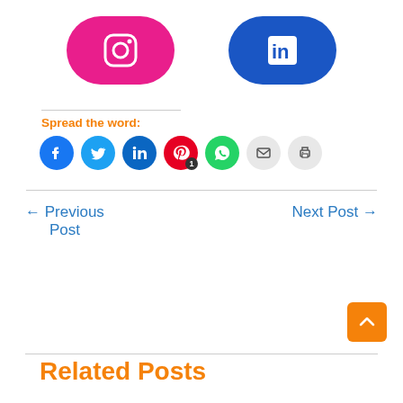[Figure (illustration): Two social media buttons: Instagram (pink/magenta rounded rectangle with Instagram icon) and LinkedIn (blue rounded rectangle with LinkedIn 'in' icon)]
Spread the word:
[Figure (illustration): Row of social sharing icon buttons: Facebook (blue circle), Twitter (light blue circle), LinkedIn (dark blue circle), Pinterest with badge '1' (red circle), WhatsApp (green circle), Email (light gray circle), Print (light gray circle)]
← Previous Post
Next Post →
Related Posts